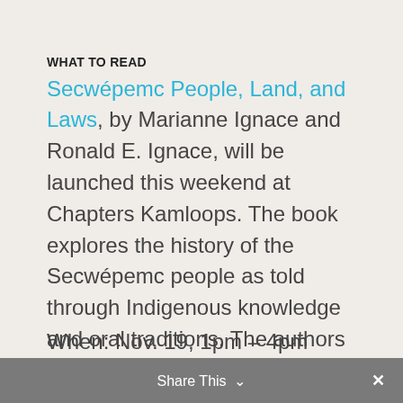WHAT TO READ
Secwépemc People, Land, and Laws, by Marianne Ignace and Ronald E. Ignace, will be launched this weekend at Chapters Kamloops. The book explores the history of the Secwépemc people as told through Indigenous knowledge and oral traditions. The authors will be at Chapters for a discussion on what the book means for the Secwépemc Nation.
Share This ∨  ✕
When: Nov. 19, 1pm – 4pm